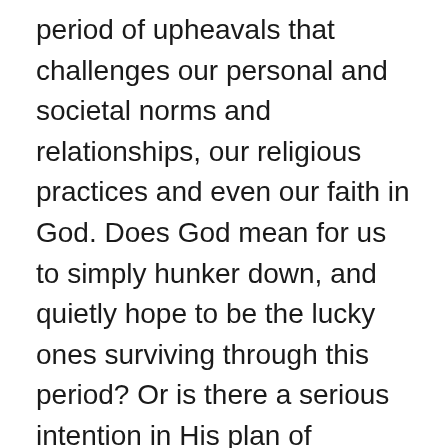period of upheavals that challenges our personal and societal norms and relationships, our religious practices and even our faith in God. Does God mean for us to simply hunker down, and quietly hope to be the lucky ones surviving through this period? Or is there a serious intention in His plan of salvation for this generation? In the bible, Jesus says that not a single sparrow falls to the ground without God knowing it. Also, He said that we Christians are one body with Christ Jesus as the Godhead. How can it be then that God allows such an